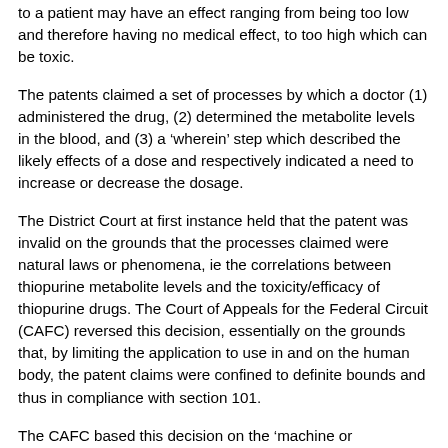to a patient may have an effect ranging from being too low and therefore having no medical effect, to too high which can be toxic.
The patents claimed a set of processes by which a doctor (1) administered the drug, (2) determined the metabolite levels in the blood, and (3) a 'wherein' step which described the likely effects of a dose and respectively indicated a need to increase or decrease the dosage.
The District Court at first instance held that the patent was invalid on the grounds that the processes claimed were natural laws or phenomena, ie the correlations between thiopurine metabolite levels and the toxicity/efficacy of thiopurine drugs. The Court of Appeals for the Federal Circuit (CAFC) reversed this decision, essentially on the grounds that, by limiting the application to use in and on the human body, the patent claims were confined to definite bounds and thus in compliance with section 101.
The CAFC based this decision on the 'machine or transformation test'. The Supreme Court had recently held in Bilski that this was not a necessary test but...